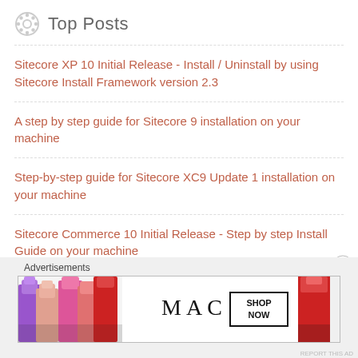Top Posts
Sitecore XP 10 Initial Release - Install / Uninstall by using Sitecore Install Framework version 2.3
A step by step guide for Sitecore 9 installation on your machine
Step-by-step guide for Sitecore XC9 Update 1 installation on your machine
Sitecore Commerce 10 Initial Release - Step by step Install Guide on your machine
Sitecore XP 9.1 Update 1 - Step by step Install Guide on your machine
[Figure (photo): MAC lipstick advertisement banner with colorful lipsticks, MAC logo, and SHOP NOW button]